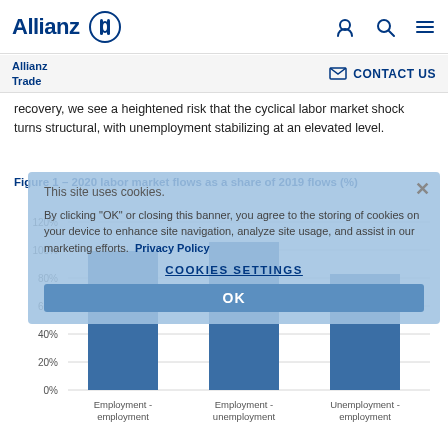Allianz
Allianz Trade | CONTACT US
recovery, we see a heightened risk that the cyclical labor market shock turns structural, with unemployment stabilizing at an elevated level.
Figure 1 – 2020 labor market flows as a share of 2019 flows (%)
[Figure (bar-chart): 2020 labor market flows as a share of 2019 flows (%)]
This site uses cookies. By clicking "OK" or closing this banner, you agree to the storing of cookies on your device to enhance site navigation, analyze site usage, and assist in our marketing efforts. Privacy Policy
COOKIES SETTINGS
OK